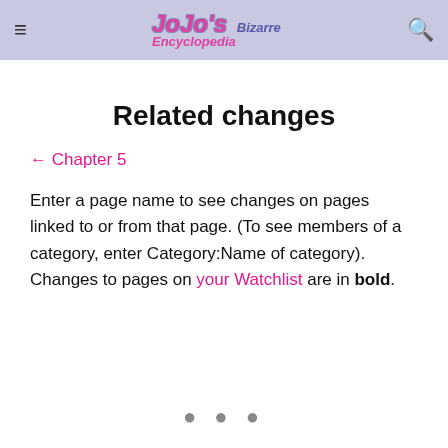≡  JoJo's Bizarre Encyclopedia  🔍
Related changes
← Chapter 5
Enter a page name to see changes on pages linked to or from that page. (To see members of a category, enter Category:Name of category). Changes to pages on your Watchlist are in bold.
• • •